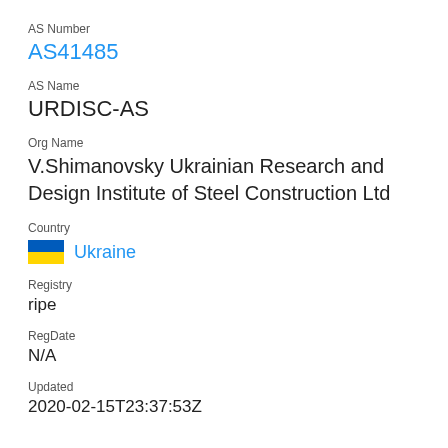AS Number
AS41485
AS Name
URDISC-AS
Org Name
V.Shimanovsky Ukrainian Research and Design Institute of Steel Construction Ltd
Country
Ukraine
Registry
ripe
RegDate
N/A
Updated
2020-02-15T23:37:53Z